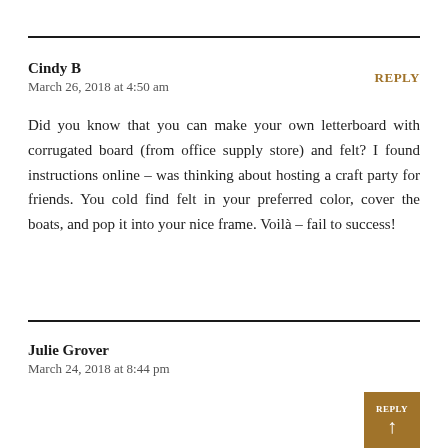Cindy B
March 26, 2018 at 4:50 am
REPLY
Did you know that you can make your own letterboard with corrugated board (from office supply store) and felt? I found instructions online – was thinking about hosting a craft party for friends. You cold find felt in your preferred color, cover the boats, and pop it into your nice frame. Voilà – fail to success!
Julie Grover
March 24, 2018 at 8:44 pm
REPLY